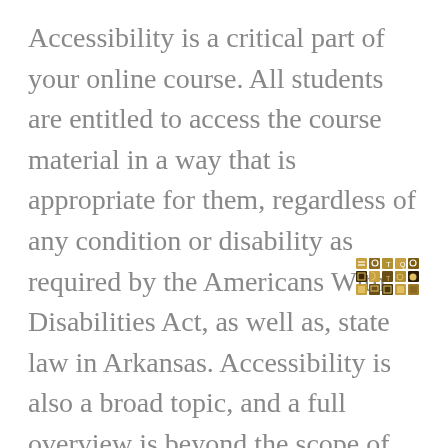Accessibility is a critical part of your online course. All students are entitled to access the course material in a way that is appropriate for them, regardless of any condition or disability as required by the Americans With Disabilities Act, as well as, state law in Arkansas. Accessibility is also a broad topic, and a full overview is beyond the scope of this lesson. However, we will discuss some primary considerations and some specific pointers for dealing with common accessibility issues in
[Figure (other): Small cluster of toolbar/interface icons arranged in a 5x3 grid, showing various small colored icon symbols in gold/brown tones]